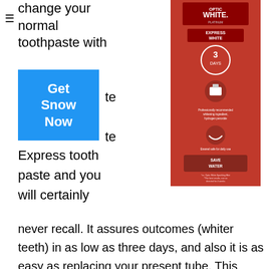change your normal toothpaste with
[Figure (photo): Colgate Optic White Platinum Express White toothpaste product box, red background, showing 3 days, professionally recommended, enamel safe for daily use, save water labels]
Get Snow Now
te te
Express tooth paste and you will certainly
never recall. It assures outcomes (whiter teeth) in as low as three days, and also it is as easy as replacing your present tube. This Optic White tooth paste has two times of the teeth whitening power of routine toothpaste, however don't allow its power turn you off. This toothpaste is risk-free to make use of everyday.